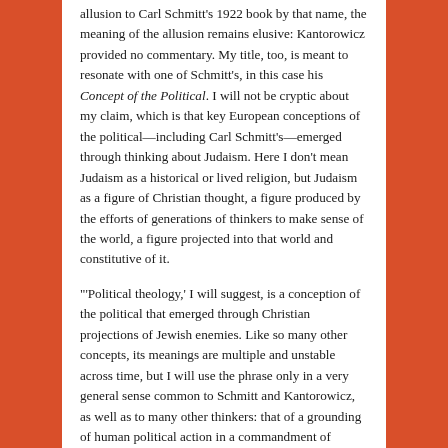allusion to Carl Schmitt's 1922 book by that name, the meaning of the allusion remains elusive: Kantorowicz provided no commentary. My title, too, is meant to resonate with one of Schmitt's, in this case his Concept of the Political. I will not be cryptic about my claim, which is that key European conceptions of the political—including Carl Schmitt's—emerged through thinking about Judaism. Here I don't mean Judaism as a historical or lived religion, but Judaism as a figure of Christian thought, a figure produced by the efforts of generations of thinkers to make sense of the world, a figure projected into that world and constitutive of it.
"'Political theology,' I will suggest, is a conception of the political that emerged through Christian projections of Jewish enemies. Like so many other concepts, its meanings are multiple and unstable across time, but I will use the phrase only in a very general sense common to Schmitt and Kantorowicz, as well as to many other thinkers: that of a grounding of human political action in a commandment of obedience to the sovereign authority of God. I hope to convince the reader, first, that the